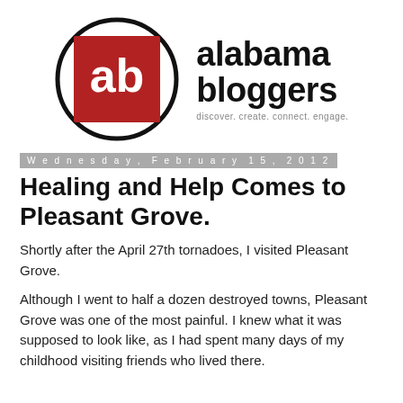[Figure (logo): Alabama Bloggers logo: red square with white 'ab' text inside a black circle, next to 'alabama bloggers' text and tagline 'discover. create. connect. engage.']
Wednesday, February 15, 2012
Healing and Help Comes to Pleasant Grove.
Shortly after the April 27th tornadoes, I visited Pleasant Grove.
Although I went to half a dozen destroyed towns, Pleasant Grove was one of the most painful. I knew what it was supposed to look like, as I had spent many days of my childhood visiting friends who lived there.